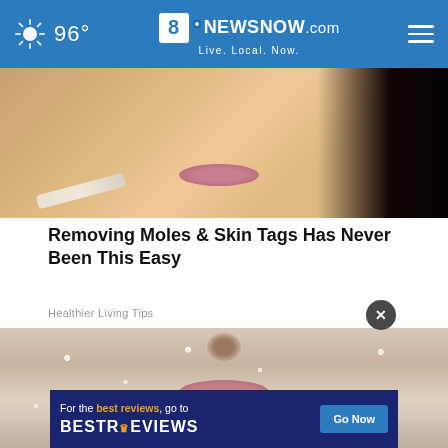96° | 8NewsNow.com — Live. Local. Now.
[Figure (photo): Close-up photo of a woman's lower face and lips, holding what appears to be a white object near her chin, with dark hair visible on the right side]
Removing Moles & Skin Tags Has Never Been This Easy
Healthier Living Tips
[Figure (photo): Close-up photo of a person's lower face covered in a grainy salt or sugar scrub, showing nose and lips area]
[Figure (other): Advertisement banner: 'For the best reviews, go to BESTREVIEWS' with a 'Go Now' button]